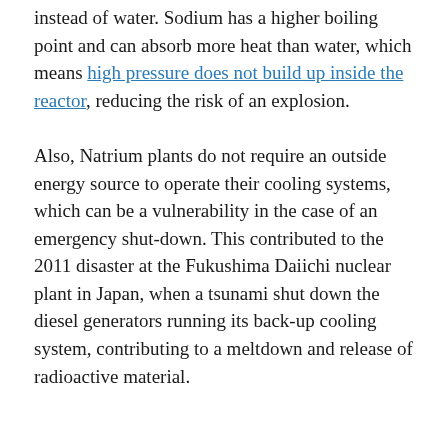instead of water. Sodium has a higher boiling point and can absorb more heat than water, which means high pressure does not build up inside the reactor, reducing the risk of an explosion.
Also, Natrium plants do not require an outside energy source to operate their cooling systems, which can be a vulnerability in the case of an emergency shut-down. This contributed to the 2011 disaster at the Fukushima Daiichi nuclear plant in Japan, when a tsunami shut down the diesel generators running its back-up cooling system, contributing to a meltdown and release of radioactive material.